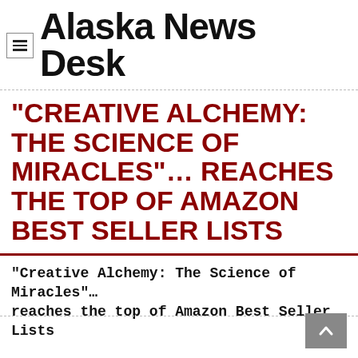Alaska News Desk
“CREATIVE ALCHEMY: THE SCIENCE OF MIRACLES”… REACHES THE TOP OF AMAZON BEST SELLER LISTS
“Creative Alchemy: The Science of Miracles”… reaches the top of Amazon Best Seller Lists